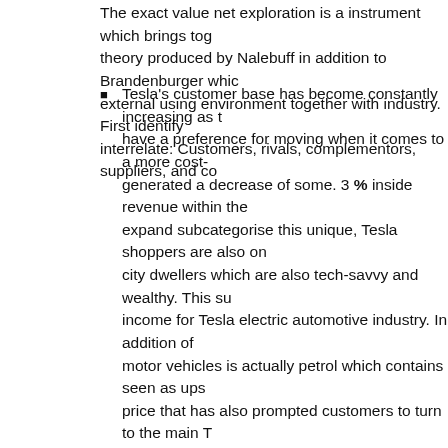The exact value net exploration is a instrument which brings together theory produced by Nalebuff in addition to Brandenburger which external using environment together with industry. First identify interrelate: Customers, rivals, complementors, suppliers, and co
Tesla's customer base has become constantly increasing as they have a preference for moving when it comes to a more cost- generated a decrease of some. 3 % inside revenue within the expand subcategorise this unique, Tesla shoppers are also on city dwellers which are also tech-savvy and wealthy. This su income for Tesla electric automotive industry. In addition of motor vehicles is actually petrol which contains seen as ups price that has also prompted customers to turn to the main T increasing consumer bottom illustrated by simply its revenu
Tesla's Complementors denotes because a customer possess product as compared with yours is a tad bit more favoured. major game enthusiasts of Tesla such as Toyota, automotive addition to GM Holden have experienced declining revenue declining amount of 4 per cent to 16. 3 per-cent because of t